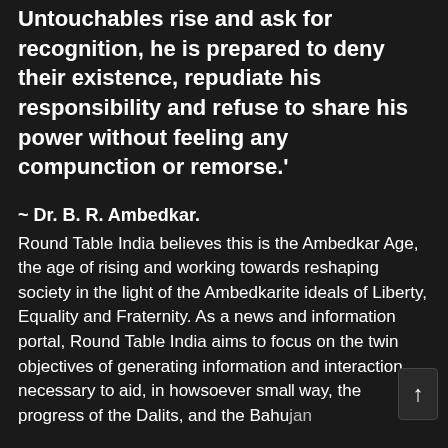Untouchables rise and ask for recognition, he is prepared to deny their existence, repudiate his responsibility and refuse to share his power without feeling any compunction or remorse.'
~ Dr. B. R. Ambedkar.
Round Table India believes this is the Ambedkar Age, the age of rising and working towards reshaping society in the light of the Ambedkarite ideals of Liberty, Equality and Fraternity. As a news and information portal, Round Table India aims to focus on the twin objectives of generating information and interaction necessary to aid, in howsoever small way, the progress of the Dalits, and the Bahujan